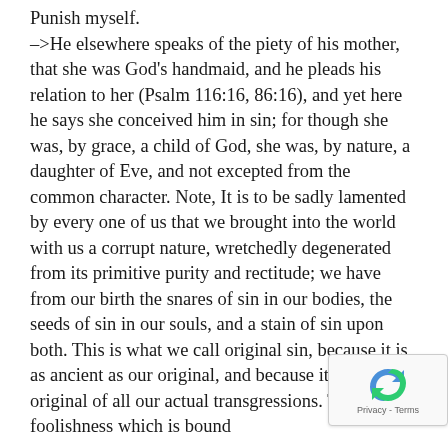Punish myself. –>He elsewhere speaks of the piety of his mother, that she was God's handmaid, and he pleads his relation to her (Psalm 116:16, 86:16), and yet here he says she conceived him in sin; for though she was, by grace, a child of God, she was, by nature, a daughter of Eve, and not excepted from the common character. Note, It is to be sadly lamented by every one of us that we brought into the world with us a corrupt nature, wretchedly degenerated from its primitive purity and rectitude; we have from our birth the snares of sin in our bodies, the seeds of sin in our souls, and a stain of sin upon both. This is what we call original sin, because it is as ancient as our original, and because it is the original of all our actual transgressions. This is that foolishness which is bound